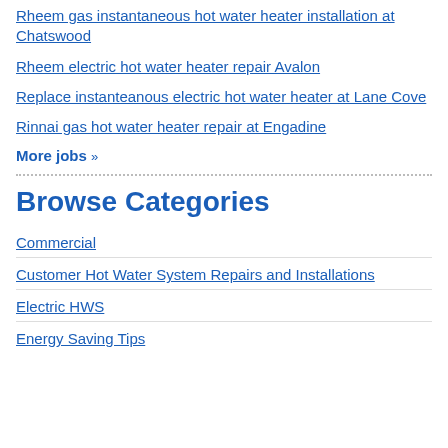Rheem gas instantaneous hot water heater installation at Chatswood
Rheem electric hot water heater repair Avalon
Replace instanteanous electric hot water heater at Lane Cove
Rinnai gas hot water heater repair at Engadine
More jobs »
Browse Categories
Commercial
Customer Hot Water System Repairs and Installations
Electric HWS
Energy Saving Tips